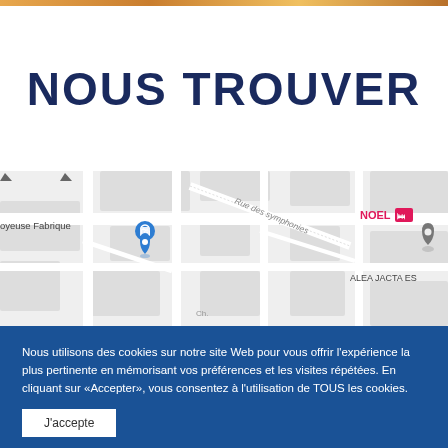NOUS TROUVER
[Figure (map): Google Maps partial view showing streets including Rue des symphonies, with location pins for NOEL and ALEA JACTA EST, and Joyeuse Fabrique label with shopping bag icon]
Nous utilisons des cookies sur notre site Web pour vous offrir l'expérience la plus pertinente en mémorisant vos préférences et les visites répétées. En cliquant sur «Accepter», vous consentez à l'utilisation de TOUS les cookies.